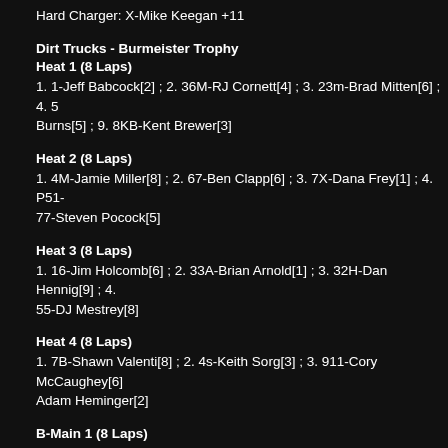Hard Charger: X-Mike Keegan +11
Dirt Trucks - Burmeister Trophy
Heat 1 (8 Laps)
1. 1-Jeff Babcock[2] ; 2. 36M-RJ Cornett[4] ; 3. 23m-Brad Mitten[6] ; 4. 5s-Tony Burns[5] ; 9. 8KB-Kent Brewer[3]
Heat 2 (8 Laps)
1. 4M-Jamie Miller[8] ; 2. 67-Ben Clapp[6] ; 3. 7X-Dana Frey[1] ; 4. P51-... 77-Steven Pocock[5]
Heat 3 (8 Laps)
1. 16-Jim Holcomb[6] ; 2. 33A-Brian Arnold[1] ; 3. 32H-Dan Hennig[9] ; 4. ... 55-DJ Mestrey[8]
Heat 4 (8 Laps)
1. 7B-Shawn Valenti[8] ; 2. 4s-Keith Sorg[3] ; 3. 911-Cory McCaughey[6] ... Adam Heminger[2]
B-Main 1 (8 Laps)
1. 14-Cody Truman[1] ; 2. 9-Curt Inks[2] ; 3. 27-Calob Crispen[4] ; 4. 7H-... 9. 19-Tony Burns[9] ; 10. 8KB-Kent Brewer[10]
B-Main 2 (8 Laps)
1. 25-Chuck Roelle[1] ; 2. 6-Steve Sabo[3] ; 3. 8S-Brandon Stuckey[4] ; ...